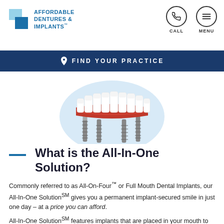AFFORDABLE DENTURES & IMPLANTS | CALL | MENU
FIND YOUR PRACTICE
[Figure (illustration): Dental implant illustration showing a row of white teeth on red gum tissue mounted on four implant screws, set against a light blue circular background.]
What is the All-In-One Solution?
Commonly referred to as All-On-Four™ or Full Mouth Dental Implants, our All-In-One Solution℠ gives you a permanent implant-secured smile in just one day – at a price you can afford.
All-In-One Solution℠ features implants that are placed in your mouth to permanently secure a custom-fitted bridge. The bridge acts like your teeth, providing you